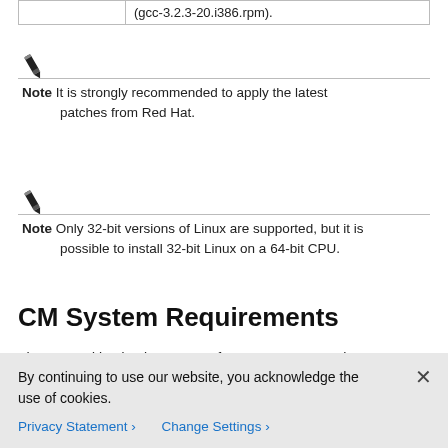|  |  |
| --- | --- |
|  | (gcc-3.2.3-20.i386.rpm). |
Note It is strongly recommended to apply the latest patches from Red Hat.
Note Only 32-bit versions of Linux are supported, but it is possible to install 32-bit Linux on a 64-bit CPU.
CM System Requirements
The CM and its database are software components that run on a server platform. They can be installed on any of the following configurations:
By continuing to use our website, you acknowledge the use of cookies.
Privacy Statement › Change Settings ›